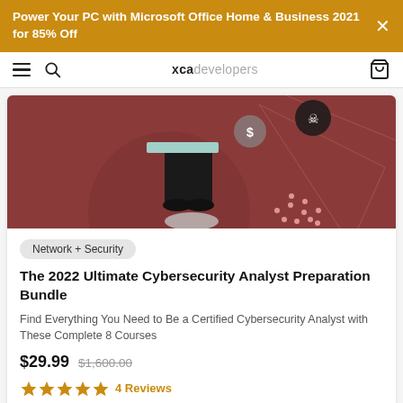Power Your PC with Microsoft Office Home & Business 2021 for 85% Off
[Figure (screenshot): XCA Developers website navigation bar with hamburger menu, search icon, xcadevelopers logo, and cart icon]
[Figure (illustration): Cybersecurity course product image with dark red background showing a person at a computer, security icons]
Network + Security
The 2022 Ultimate Cybersecurity Analyst Preparation Bundle
Find Everything You Need to Be a Certified Cybersecurity Analyst with These Complete 8 Courses
$29.99  $1,600.00
4 Reviews
[Figure (screenshot): Partial bottom product card with dark background (green code visible)]